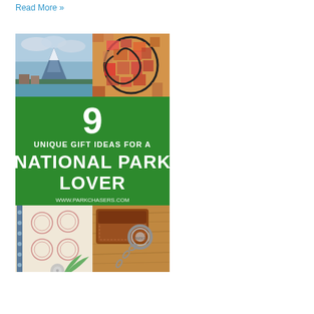Read More »
[Figure (illustration): Promotional collage image for '9 Unique Gift Ideas for a National Park Lover' from www.parkchasers.com. Top section shows mountain landscape (left) and colorful mosaic/stained glass art (right). Middle section is a green banner with white text: '9 UNIQUE GIFT IDEAS FOR A NATIONAL PARK LOVER' and 'www.parkchasers.com'. Bottom section shows a small notebook with circular stamps (left) and a leather wallet/keychain on wooden surface (right).]